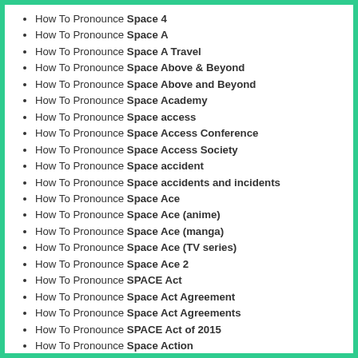How To Pronounce Space 4
How To Pronounce Space A
How To Pronounce Space A Travel
How To Pronounce Space Above & Beyond
How To Pronounce Space Above and Beyond
How To Pronounce Space Academy
How To Pronounce Space access
How To Pronounce Space Access Conference
How To Pronounce Space Access Society
How To Pronounce Space accident
How To Pronounce Space accidents and incidents
How To Pronounce Space Ace
How To Pronounce Space Ace (anime)
How To Pronounce Space Ace (manga)
How To Pronounce Space Ace (TV series)
How To Pronounce Space Ace 2
How To Pronounce SPACE Act
How To Pronounce Space Act Agreement
How To Pronounce Space Act Agreements
How To Pronounce SPACE Act of 2015
How To Pronounce Space Action
How To Pronounce Space Activity Suit